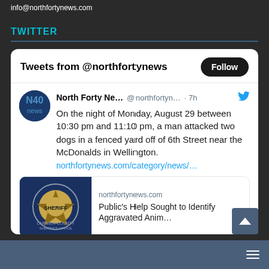info@northfortynews.com
TWITTER
[Figure (screenshot): Embedded Twitter widget showing tweet from @northfortynews about a man attacking two dogs in Wellington, with a link preview for a Larimer County Sheriff article about identifying an aggravated animal abuser.]